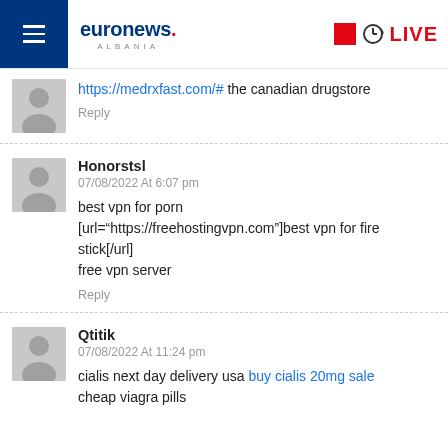euronews. ALBANIA | LIVE
https://medrxfast.com/# the canadian drugstore
Reply
Honorstsl
07/08/2022 At 6:07 pm
best vpn for porn [url="https://freehostingvpn.com"]best vpn for fire stick[/url]
free vpn server
Reply
Qtitik
07/08/2022 At 11:24 pm
cialis next day delivery usa buy cialis 20mg sale
cheap viagra pills